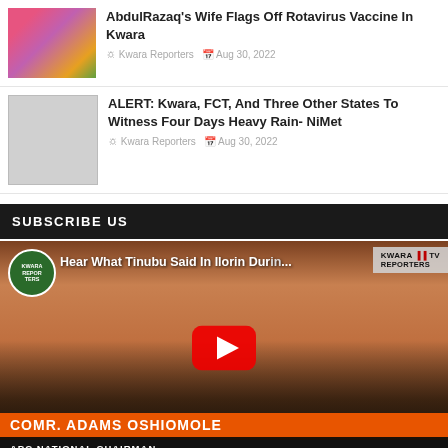[Figure (photo): Thumbnail photo of people at a colorful event]
AbdulRazaq's Wife Flags Off Rotavirus Vaccine In Kwara
Kwara Reporters  Aug 30, 2022
[Figure (photo): Gray placeholder thumbnail]
ALERT: Kwara, FCT, And Three Other States To Witness Four Days Heavy Rain- NiMet
Kwara Reporters  Aug 30, 2022
SUBSCRIBE US
[Figure (screenshot): YouTube video thumbnail showing Hear What Tinubu Said In Ilorin During... with a person speaking at a podium. Lower third reads COMR. ADAMS OSHIOMOLE and APC NATIONAL CHAIRMAN. Kwara Reporters TV logo visible. Red YouTube play button overlay.]